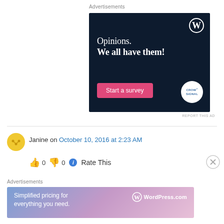Advertisements
[Figure (screenshot): WordPress/CrowdSignal advertisement on dark navy background. Text reads 'Opinions. We all have them!' with a pink 'Start a survey' button and CrowdSignal logo badge.]
REPORT THIS AD
Janine on October 10, 2016 at 2:23 AM
👍 0 👎 0 ℹ Rate This
Advertisements
[Figure (screenshot): WordPress.com advertisement with gradient background (blue to pink). Text reads 'Simplified pricing for everything you need.' with WordPress.com logo.]